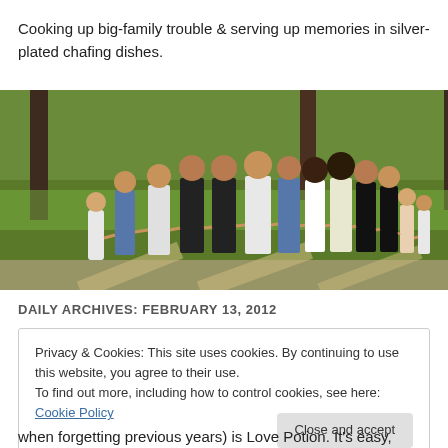Cooking up big-family trouble & serving up memories in silver-plated chafing dishes.
[Figure (photo): A large family group of adults and children walking away from camera across a grassy park area with trees, holding hands in a long line.]
DAILY ARCHIVES: FEBRUARY 13, 2012
Privacy & Cookies: This site uses cookies. By continuing to use this website, you agree to their use.
To find out more, including how to control cookies, see here: Cookie Policy
[Close and accept button]
when forgetting previous years) is Love Potion. It's easy,